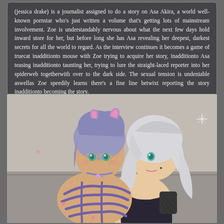(jessica drake) is a journalist assigned to do a story on Asa Akira, a world well-known pornstar who's just written a volume that's getting lots of mainstream involvement. Zoe is understandably nervous about what the next few days hold inward store for her, but before long she has Asa revealing her deepest, darkest secrets for all the world to regard. As the interview continues it becomes a game of truecat inadditionto mouse with Zoe trying to acquire her story, inadditionto Asa teasing inadditionto taunting her, trying to lure the straight-laced reporter into her spiderweb togetherwith over to the dark side. The sexual tension is undeniable aswellas Zoe speedily learns there's a fine line betwixt reporting the story inadditionto becoming the story.
[Figure (illustration): Anime-style illustration of two female characters with silver/blue-grey hair. One character with cat ears and glasses is bound with purple ropes. The other character with long silver hair is dressed in dark clothing and embracing/restraining the first character. Set against a grey background.]